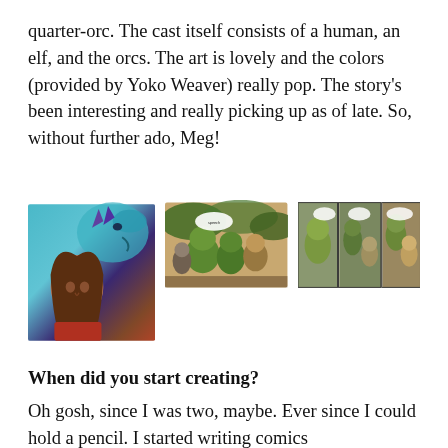quarter-orc. The cast itself consists of a human, an elf, and the orcs. The art is lovely and the colors (provided by Yoko Weaver) really pop. The story's been interesting and really picking up as of late. So, without further ado, Meg!
[Figure (illustration): Three images side by side: a large illustrated portrait of a girl with brown hair in front of a blue dragon, a medium comic panel showing orcs and characters in a forest, and a comic strip panel sequence with orc characters.]
When did you start creating?
Oh gosh, since I was two, maybe. Ever since I could hold a pencil. I started writing comics